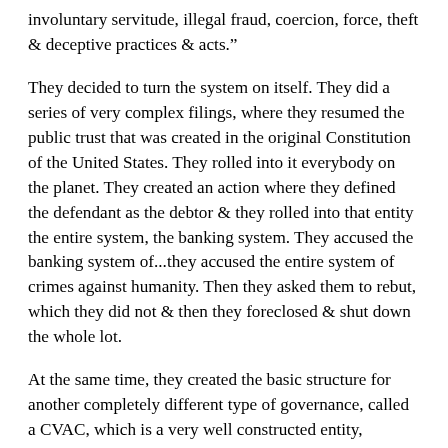involuntary servitude, illegal fraud, coercion, force, theft & deceptive practices & acts.”
They decided to turn the system on itself. They did a series of very complex filings, where they resumed the public trust that was created in the original Constitution of the United States. They rolled into it everybody on the planet. They created an action where they defined the defendant as the debtor & they rolled into that entity the entire system, the banking system. They accused the banking system of...they accused the entire system of crimes against humanity. Then they asked them to rebut, which they did not & then they foreclosed & shut down the whole lot.
At the same time, they created the basic structure for another completely different type of governance, called a CVAC, which is a very well constructed entity, certainly from my point of view & my opinion. So from our point of view, what is The People’s Public Trust? The Public Trust itself consists of us, every person on the planet & the planet, the Creator, okay? And included in the planet, in the assets of the planet, are those things which we consider of value, which at this stage is gold & silver, which has been bound...it’s value has been bound to the Trust. So, The People’s